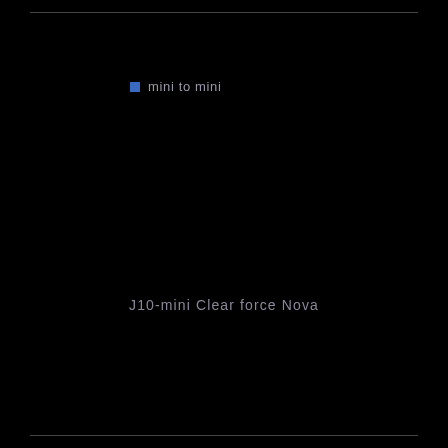mini to mini
J10-mini Clear force Nova